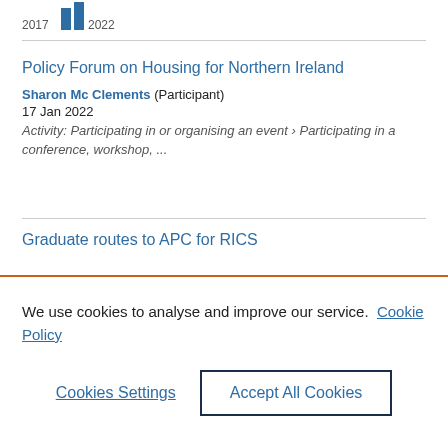[Figure (bar-chart): 2017 vs 2022]
Policy Forum on Housing for Northern Ireland
Sharon Mc Clements (Participant)
17 Jan 2022
Activity: Participating in or organising an event › Participating in a conference, workshop, ...
Graduate routes to APC for RICS
We use cookies to analyse and improve our service. Cookie Policy
Cookies Settings
Accept All Cookies